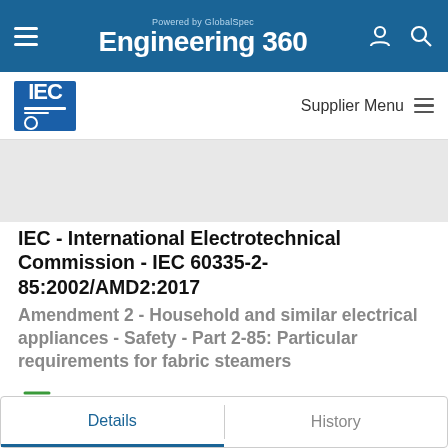Engineering 360 - Powered by GlobalSpec
[Figure (logo): IEC logo - International Electrotechnical Commission blue square logo]
Supplier Menu
IEC - International Electrotechnical Commission - IEC 60335-2-85:2002/AMD2:2017
Amendment 2 - Household and similar electrical appliances - Safety - Part 2-85: Particular requirements for fabric steamers
Published
BUY NOW
Details
History